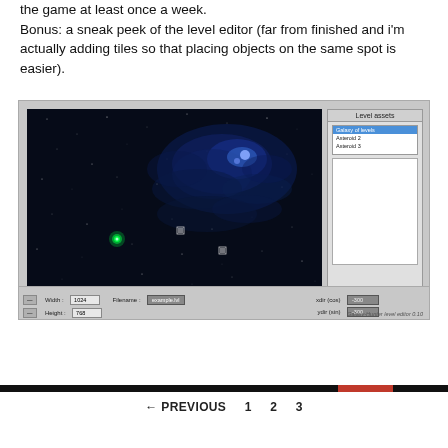the game at least once a week.
Bonus: a sneak peek of the level editor (far from finished and i'm actually adding tiles so that placing objects on the same spot is easier).
[Figure (screenshot): Screenshot of the Galaxy-Hunter level editor version 0.10. Left panel shows a space game viewport with a dark starfield background, glowing blue nebula, a bright green glowing object at lower left, and two small white square objects. Right panel shows a 'Level assets' palette with a list box (one item highlighted in blue) and a large white content area. Bottom bar shows controls: Width: 1024, Filename: example.lvl, Height: 768, xdir (cos): -300, ydir (sin): -300, and watermark text 'Galaxy-Hunter level editor 0.10'.]
← PREVIOUS   1   2   3